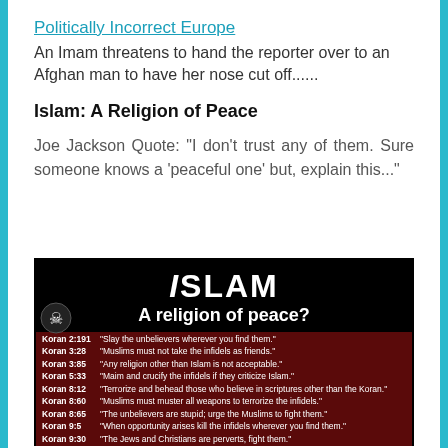Politically Incorrect Europe
An Imam threatens to hand the reporter over to an Afghan man to have her nose cut off......
Islam:  A Religion of Peace
Joe Jackson Quote:  "I don't trust any of them. Sure someone knows a 'peaceful one' but, explain this..."
[Figure (infographic): Dark background infographic titled 'iSLAM - A religion of peace?' listing Koran verses with violent quotes including Koran 2:191, 3:28, 3:85, 5:33, 8:12, 8:60, 8:65, 9:5, 9:30, 9:123]